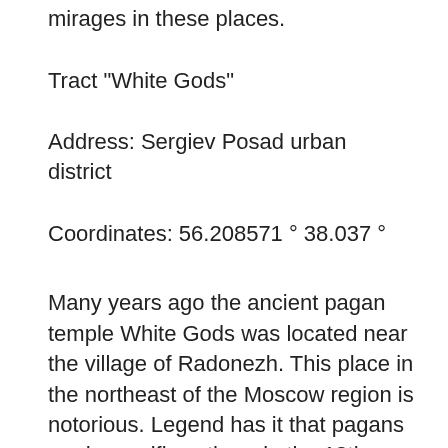mirages in these places.
Tract "White Gods"
Address: Sergiev Posad urban district
Coordinates: 56.208571 ° 38.037 °
Many years ago the ancient pagan temple White Gods was located near the village of Radonezh. This place in the northeast of the Moscow region is notorious. Legend has it that pagans made sacrifices there in the 12th century. The altar was a large stone hemisphere, about six meters in diameter and three meters high. Belobog, as the name suggests, is the supreme god of goodness.